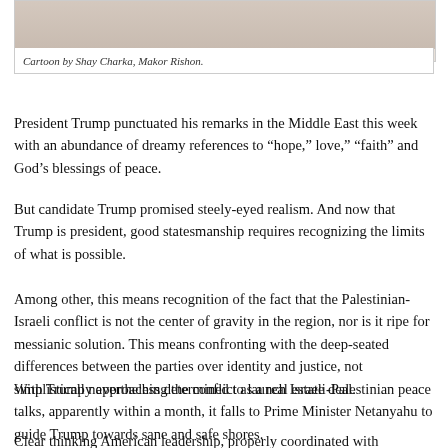[Figure (illustration): Cartoon image strip at top of page, partially visible]
Cartoon by Shay Charka, Makor Rishon.
President Trump punctuated his remarks in the Middle East this week with an abundance of dreamy references to “hope,” love,” “faith” and God’s blessings of peace.
But candidate Trump promised steely-eyed realism. And now that Trump is president, good statesmanship requires recognizing the limits of what is possible.
Among other, this means recognition of the fact that the Palestinian-Israeli conflict is not the center of gravity in the region, nor is it ripe for messianic solution. This means confronting with the deep-seated differences between the parties over identity and justice, not simplistically approaching the conflict as a real estate deal.
With Trump nevertheless determined to launch Israeli-Palestinian peace talks, apparently within a month, it falls to Prime Minister Netanyahu to guide Trump towards sane and safe shores.
Clear thinking American leadership, properly coordinated with